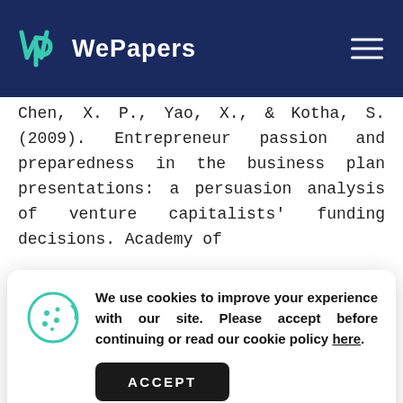WePapers
Chen, X. P., Yao, X., & Kotha, S. (2009). Entrepreneur passion and preparedness in the business plan presentations: a persuasion analysis of venture capitalists' funding decisions. Academy of
[Figure (screenshot): Cookie consent overlay with cookie icon, text 'We use cookies to improve your experience with our site. Please accept before continuing or read our cookie policy here.', and an ACCEPT button]
venture proposals. Journal of Business Venturing, 1(1), 119-128.
Mason, C., & Stark, M. (2004). What do investors look for